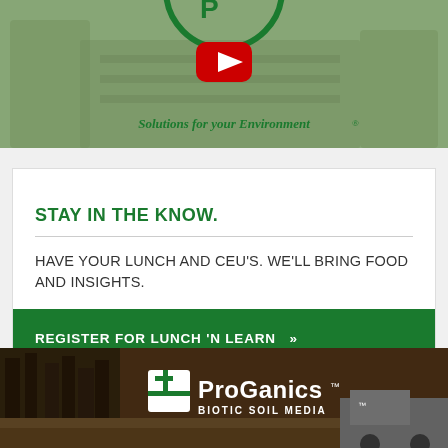[Figure (photo): Background photo of people in green shirts working, with a green circular logo partially visible at top and a YouTube play button overlay. Text: 'Solutions for your Environment®']
STAY IN THE KNOW.
HAVE YOUR LUNCH AND CEU'S. WE'LL BRING FOOD AND INSIGHTS.
REGISTER FOR LUNCH 'N LEARN  »
[Figure (logo): ProGanics™ Biotic Soil Media™ logo on a background photo of earth-moving equipment in a forest]